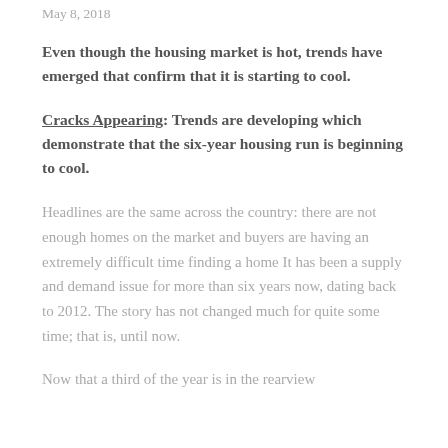May 8, 2018
Even though the housing market is hot, trends have emerged that confirm that it is starting to cool.
Cracks Appearing: Trends are developing which demonstrate that the six-year housing run is beginning to cool.
Headlines are the same across the country: there are not enough homes on the market and buyers are having an extremely difficult time finding a home It has been a supply and demand issue for more than six years now, dating back to 2012. The story has not changed much for quite some time; that is, until now.
Now that a third of the year is in the rearview